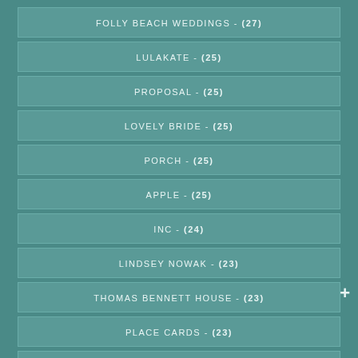FOLLY BEACH WEDDINGS - (27)
LULAKATE - (25)
PROPOSAL - (25)
LOVELY BRIDE - (25)
PORCH - (25)
APPLE - (25)
INC - (24)
LINDSEY NOWAK - (23)
THOMAS BENNETT HOUSE - (23)
PLACE CARDS - (23)
OUTDOOR WEDDING - (23)